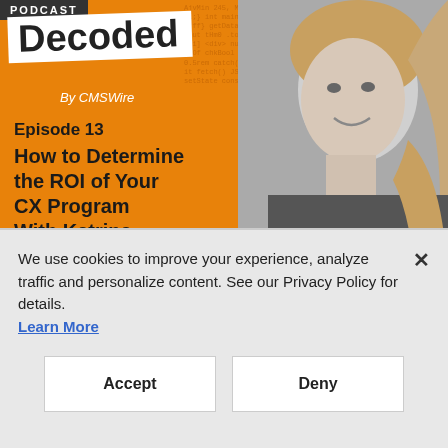[Figure (illustration): CX Decoded Podcast cover art - orange background with code text overlay, white 'Decoded' logo box, 'By CMSWire' subtitle, Episode 13 info, and grayscale photo of a woman (Katrina Schiedemeyer) on the right side]
CUSTOMER EXPERIENCE
CX Decoded Podcast: How Valid Customer Experience Data Tells
We use cookies to improve your experience, analyze traffic and personalize content. See our Privacy Policy for details. Learn More
Accept
Deny